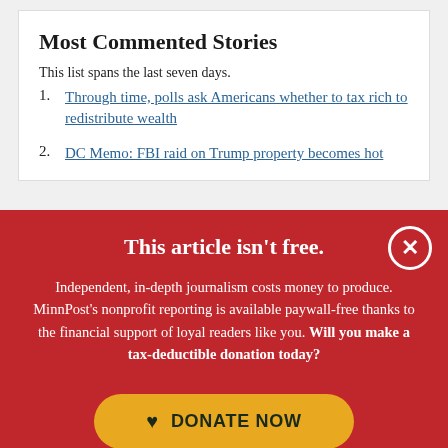Most Commented Stories
This list spans the last seven days.
1. Through time, polls ask Americans whether to tax rich to redistribute wealth
2. DC Memo: FBI raid on Trump property becomes hot
This article isn't free.
Independent, in-depth journalism costs money to produce. MinnPost's nonprofit reporting is available paywall-free thanks to the financial support of loyal readers like you. Will you make a tax-deductible donation today?
DONATE NOW